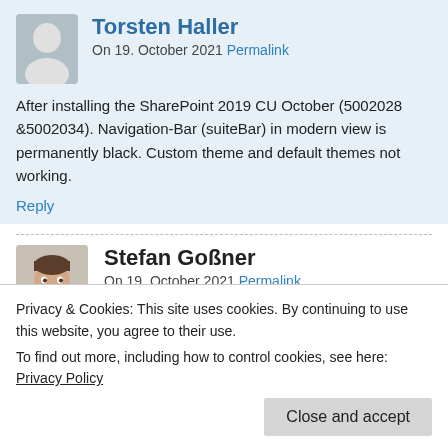Torsten Haller
On 19. October 2021 Permalink
After installing the SharePoint 2019 CU October (5002028 &5002034). Navigation-Bar (suiteBar) in modern view is permanently black. Custom theme and default themes not working.
Reply
Stefan Goßner
On 19. October 2021 Permalink
Hi Torsten,
Privacy & Cookies: This site uses cookies. By continuing to use this website, you agree to their use.
To find out more, including how to control cookies, see here: Privacy Policy
Close and accept